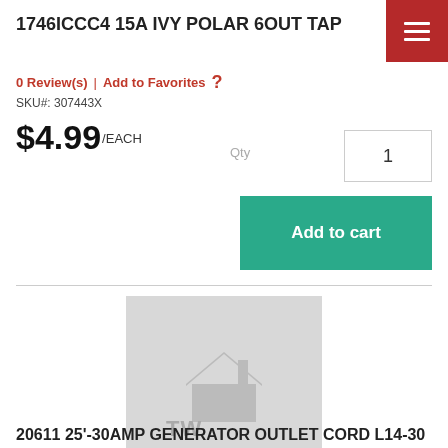1746ICCC4 15A IVY POLAR 6OUT TAP
0 Review(s)  |  Add to Favorites  ?
SKU#: 307443X
$4.99/EACH
Qty  1
Add to cart
[Figure (logo): TW Perry placeholder product image with house icon logo on grey background]
20611 25'-30AMP GENERATOR OUTLET CORD L14-30